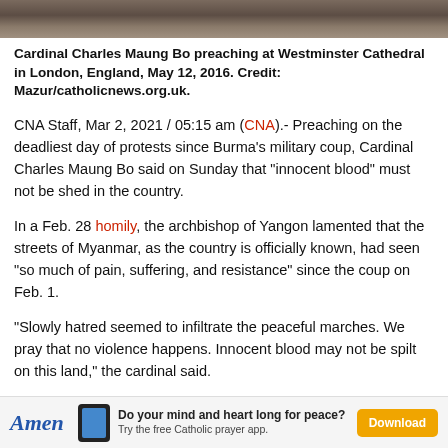[Figure (photo): Photo strip at top of page showing Cardinal Charles Maung Bo preaching at Westminster Cathedral]
Cardinal Charles Maung Bo preaching at Westminster Cathedral in London, England, May 12, 2016. Credit: Mazur/catholicnews.org.uk.
CNA Staff, Mar 2, 2021 / 05:15 am (CNA).- Preaching on the deadliest day of protests since Burma's military coup, Cardinal Charles Maung Bo said on Sunday that “innocent blood” must not be shed in the country.
In a Feb. 28 homily, the archbishop of Yangon lamented that the streets of Myanmar, as the country is officially known, had seen “so much of pain, suffering, and resistance” since the coup on Feb. 1.
“Slowly hatred seemed to infiltrate the peaceful marches. We pray that no violence happens. Innocent blood may not be spilt on this land,” the cardinal said.
“We are all sons and daughters of the same land, same mother. No man or woman and his or her nation is truly and…
[Figure (infographic): Amen app advertisement banner at bottom: Do your mind and heart long for peace? Try the free Catholic prayer app. Download button.]